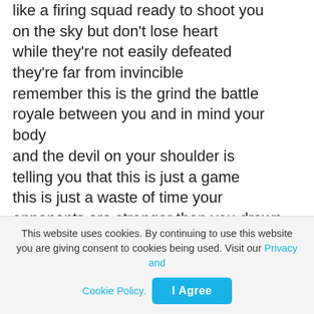like a firing squad ready to shoot you on the sky but don't lose heart while they're not easily defeated they're far from invincible remember this is the grind the battle royale between you and in mind your body and the devil on your shoulder is telling you that this is just a game this is just a waste of time your opponents are stronger than you drown out the voice of uncertainty with the sound of your own heartbeat burn away yourself down with a fire that beneath
This website uses cookies. By continuing to use this website you are giving consent to cookies being used. Visit our Privacy and Cookie Policy.